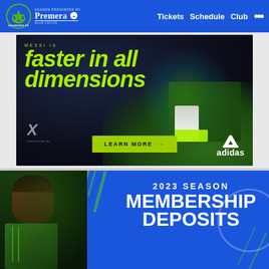[Figure (screenshot): Seattle Sounders FC website navigation bar with team logo, Premera Blue Cross season sponsor, and navigation links: Tickets, Schedule, Club, and more (...)]
[Figure (advertisement): Adidas advertisement featuring soccer player Messi with text 'Messi is faster in all dimensions', a LEARN MORE button, Adidas X boot branding, and Adidas logo]
[Figure (infographic): Seattle Sounders FC 2023 Season Membership Deposits promotional banner on blue background with soccer player photo on left and bold white text reading '2023 SEASON MEMBERSHIP DEPOSITS']